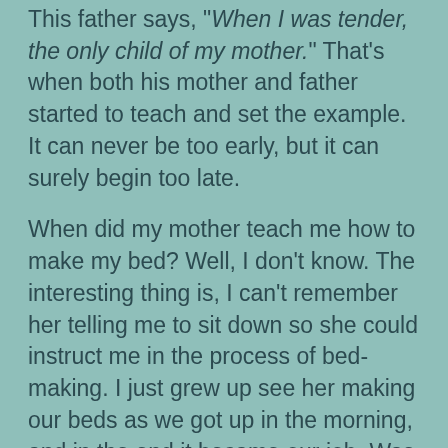This father says, "When I was tender, the only child of my mother." That's when both his mother and father started to teach and set the example. It can never be too early, but it can surely begin too late.
When did my mother teach me how to make my bed? Well, I don't know. The interesting thing is, I can't remember her telling me to sit down so she could instruct me in the process of bed-making. I just grew up see her making our beds as we got up in the morning, and in the end it became our job. Was it perfect at the beginning? No, but I think I got it now.